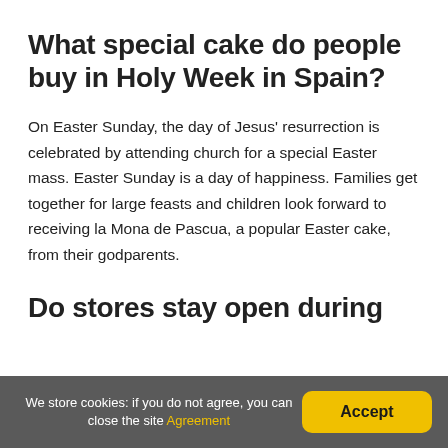What special cake do people buy in Holy Week in Spain?
On Easter Sunday, the day of Jesus' resurrection is celebrated by attending church for a special Easter mass. Easter Sunday is a day of happiness. Families get together for large feasts and children look forward to receiving la Mona de Pascua, a popular Easter cake, from their godparents.
Do stores stay open during
We store cookies: if you do not agree, you can close the site Agreement